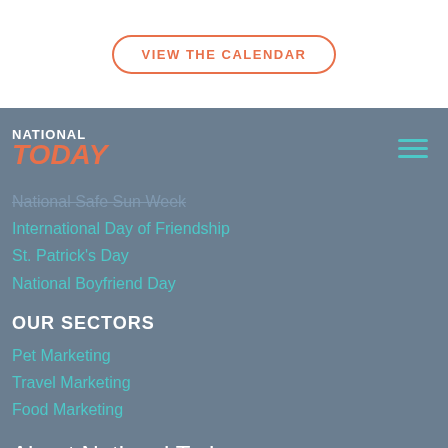VIEW THE CALENDAR
[Figure (logo): National Today logo with 'NATIONAL' in white bold uppercase and 'TODAY' in coral/orange italic bold below]
National Safe Sun Week
International Day of Friendship
St. Patrick's Day
National Boyfriend Day
OUR SECTORS
Pet Marketing
Travel Marketing
Food Marketing
About National Today
We keep track of fun holidays and special moments on the cultural calendar — giving you exciting activities, deals